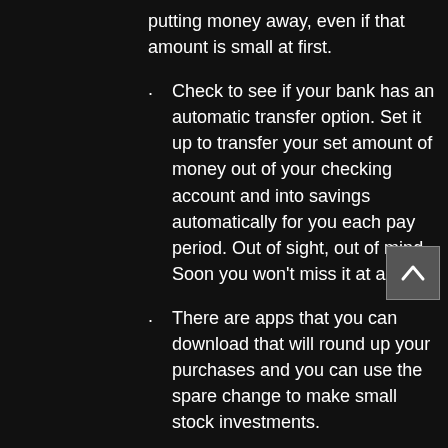putting money away, even if that amount is small at first.
Check to see if your bank has an automatic transfer option. Set it up to transfer your set amount of money out of your checking account and into savings automatically for you each pay period. Out of sight, out of mind. Soon you won't miss it at all!
There are apps that you can download that will round up your purchases and you can use the spare change to make small stock investments.
Even $5 per week will add up to